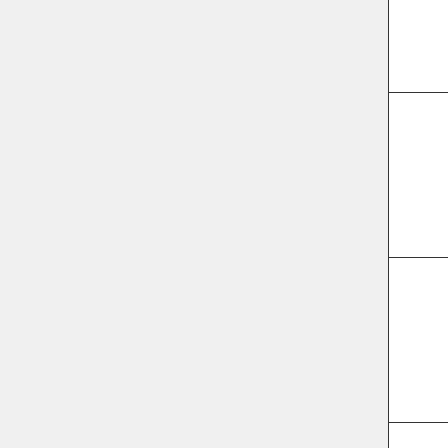| [col1] | [col2] | [col3] | [col4] |
| --- | --- | --- | --- |
|  | 7421A1 |  | 11- |
| imx6LBV8390 | ROM-
7421A1 | Dual/Quad | 201
11- |
| imx6LBV8370 | UBC-
220A1 | Dual Lite | 201
11- |
| imx6LBV8370 | UBC-
220A1 | Dual/Quad | 201
11- |
|  | EBC- |  | 201 |